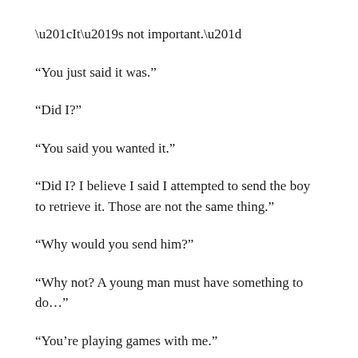“It’s not important.”
“You just said it was.”
“Did I?”
“You said you wanted it.”
“Did I? I believe I said I attempted to send the boy to retrieve it. Those are not the same thing.”
“Why would you send him?”
“Why not? A young man must have something to do…”
“You’re playing games with me.”